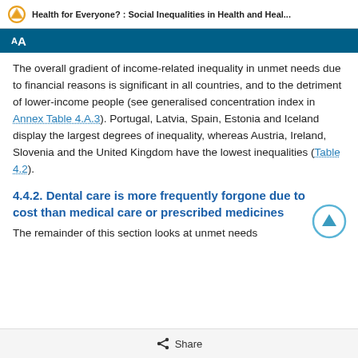Health for Everyone? : Social Inequalities in Health and Heal...
AA
The overall gradient of income-related inequality in unmet needs due to financial reasons is significant in all countries, and to the detriment of lower-income people (see generalised concentration index in Annex Table 4.A.3). Portugal, Latvia, Spain, Estonia and Iceland display the largest degrees of inequality, whereas Austria, Ireland, Slovenia and the United Kingdom have the lowest inequalities (Table 4.2).
4.4.2. Dental care is more frequently forgone due to cost than medical care or prescribed medicines
The remainder of this section looks at unmet needs
Share